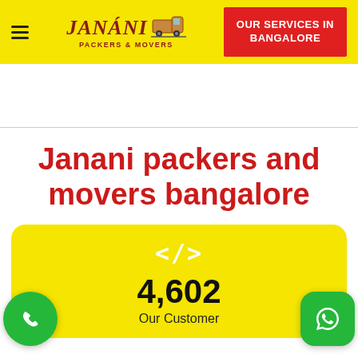[Figure (logo): Janani Packers and Movers logo with truck illustration on yellow header background, hamburger menu icon on left, red 'OUR SERVICES IN BANGALORE' button on right]
Janani packers and movers bangalore
[Figure (infographic): Yellow rounded card showing code icon </>, number 4,602, label 'Our Customer', with green phone button on bottom-left and green WhatsApp button on bottom-right]